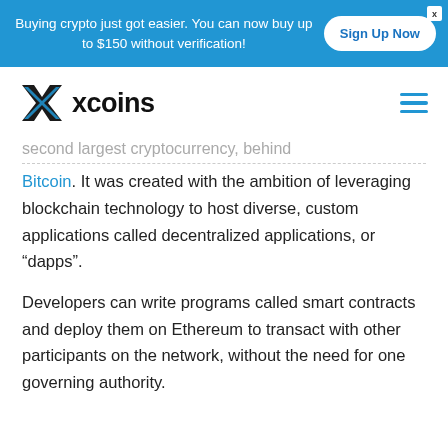Buying crypto just got easier. You can now buy up to $150 without verification! Sign Up Now
[Figure (logo): xcoins logo with X icon and hamburger menu icon]
second largest cryptocurrency, behind Bitcoin. It was created with the ambition of leveraging blockchain technology to host diverse, custom applications called decentralized applications, or “dapps”.
Developers can write programs called smart contracts and deploy them on Ethereum to transact with other participants on the network, without the need for one governing authority.